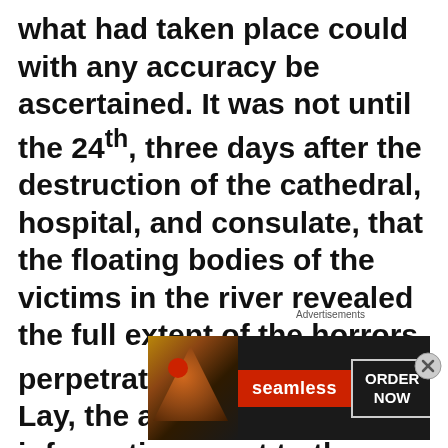what had taken place could with any accuracy be ascertained. It was not until the 24th, three days after the destruction of the cathedral, hospital, and consulate, that the floating bodies of the victims in the river revealed the full extent of the horrors perpetrated. On the 23rd, Mr. Lay, the acting consul, on information, went to the river-bank, where he found the remains of a Russian lady, just married to one of the Russian
[Figure (other): Seamless food delivery advertisement banner showing pizza image on left, Seamless logo in red in center, and ORDER NOW button on right, on dark background]